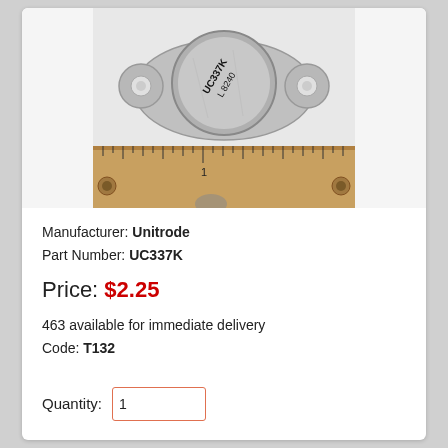[Figure (photo): Photograph of a Unitrode UC337K electronic component (metal can transistor/IC) placed on a wooden ruler showing scale. The component is a silver metallic cylindrical package with mounting flanges on the sides, labeled UC337K and 8240. The ruler beneath shows measurement markings.]
Manufacturer: Unitrode
Part Number: UC337K
Price: $2.25
463 available for immediate delivery
Code: T132
Quantity: 1